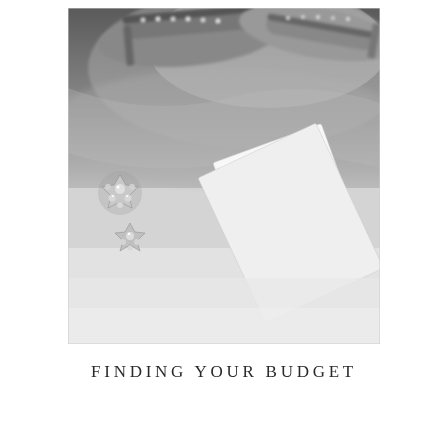[Figure (photo): Black and white photograph of wedding accessories including sparkly/rhinestone shoes at the top, crystal brooch earrings on the left, and wedding invitation cards/stationery arranged on a soft fabric surface.]
FINDING YOUR BUDGET